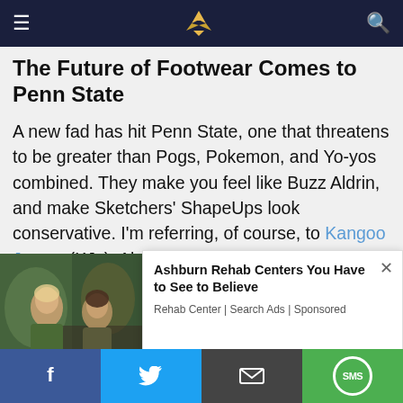Navigation bar with hamburger menu, logo, and search icon
The Future of Footwear Comes to Penn State
A new fad has hit Penn State, one that threatens to be greater than Pogs, Pokemon, and Yo-yos combined. They make you feel like Buzz Aldrin, and make Sketchers' ShapeUps look conservative. I'm referring, of course, to Kangoo Jumps (KJs). Already rumored to be featured on the Richard Simmons comeback exercise video (full disclosure: the author started this rumor…right now), Kangoo Jumps at this State College location, all their
[Figure (photo): Two young women posing in front of graffiti wall]
Ashburn Rehab Centers You Have to See to Believe
Rehab Center | Search Ads | Sponsored
Social share buttons: Facebook, Twitter, Email, SMS